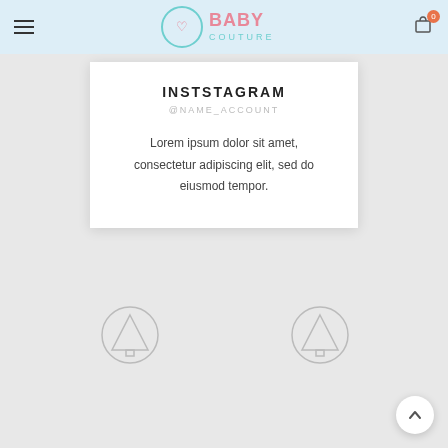Baby Couture — navigation header with hamburger menu and cart icon (0 items)
INSTSTAGRAM
@NAME_ACCOUNT
Lorem ipsum dolor sit amet, consectetur adipiscing elit, sed do eiusmod tempor.
[Figure (illustration): Two circular tree/arrow-up placeholder icons in grey, positioned at bottom left and bottom center-right of the page]
[Figure (illustration): Back-to-top arrow button, white circle with upward chevron, bottom right corner]